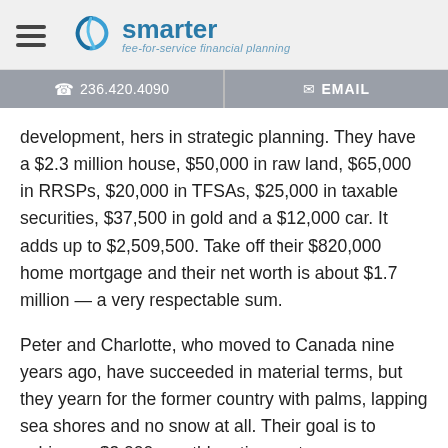smarter fee-for-service financial planning
☎ 236.420.4090   ✉ EMAIL
development, hers in strategic planning. They have a $2.3 million house, $50,000 in raw land, $65,000 in RRSPs, $20,000 in TFSAs, $25,000 in taxable securities, $37,500 in gold and a $12,000 car. It adds up to $2,509,500. Take off their $820,000 home mortgage and their net worth is about $1.7 million — a very respectable sum.
Peter and Charlotte, who moved to Canada nine years ago, have succeeded in material terms, but they yearn for the former country with palms, lapping sea shores and no snow at all. Their goal is to achieve a $3,000 monthly retirement